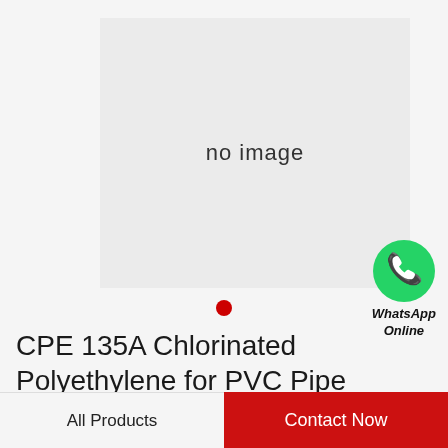[Figure (photo): Product image placeholder showing 'no image' text on grey background]
[Figure (logo): WhatsApp Online green circle icon with phone handset, labeled 'WhatsApp Online']
CPE 135A Chlorinated Polyethylene for PVC Pipe
All Products
Contact Now